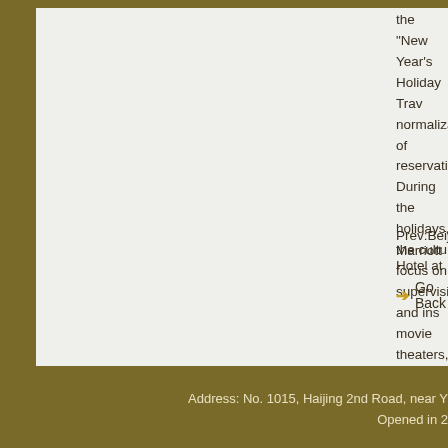the "New Year's Holiday Trav... normalization of reservations... During the holidays, the cultu... focus on supervising and ins... movie theaters, etc., requirin... prevention and control and h... prevention guidelines and sta... premises and equipment, wa... management, and ensure wi... Issue a rectification reminder... ordering the establishment o... handle emergencies in a tim... property, ensure full coverag... and order of holiday tourism...
Prev:Beijing Marriott Hotel at...
Go Back
Address: No. 1015, Haijing 2nd Road, near Y... Opened in 2...